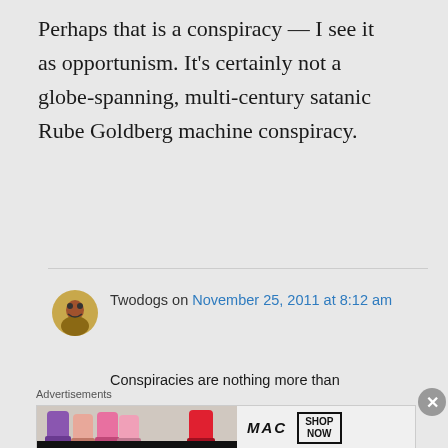Perhaps that is a conspiracy — I see it as opportunism. It's certainly not a globe-spanning, multi-century satanic Rube Goldberg machine conspiracy.
Twodogs on November 25, 2011 at 8:12 am
Conspiracies are nothing more than
[Figure (other): MAC cosmetics advertisement showing lipsticks with SHOP NOW button]